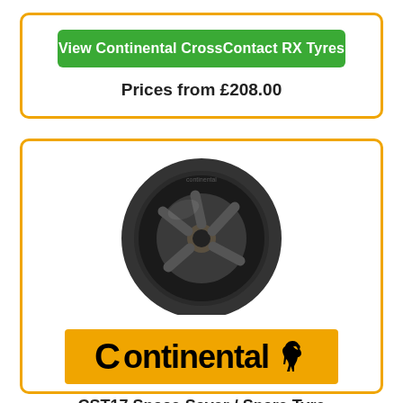View Continental CrossContact RX Tyres
Prices from £208.00
[Figure (photo): Continental CST17 tyre product photo showing a dark-coloured spare/space-saver tyre with a 5-spoke wheel]
[Figure (logo): Continental brand logo on orange/gold background with horse icon]
CST17 Space Saver / Spare Tyre